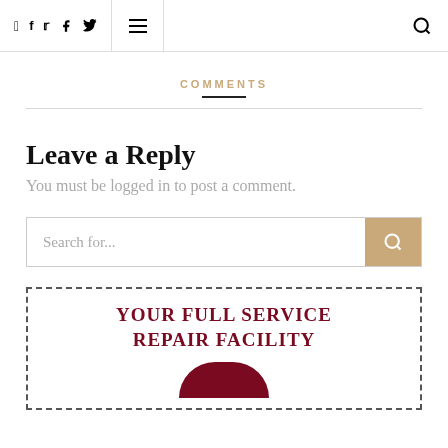Social icons, menu, search
COMMENTS
Leave a Reply
You must be logged in to post a comment.
Search for...
[Figure (infographic): Advertisement banner with dashed border reading YOUR FULL SERVICE REPAIR FACILITY with a dark red logo below]